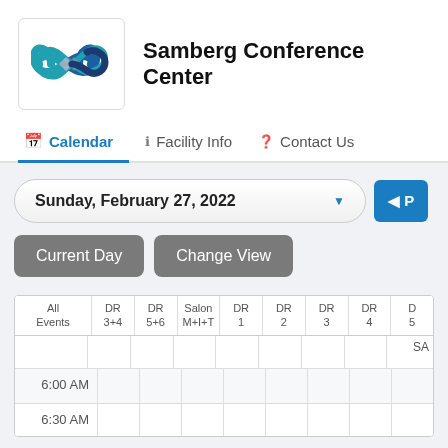[Figure (logo): Samberg Conference Center logo: infinity loop symbol in teal/blue with overlapping diamond shapes]
Samberg Conference Center
Calendar | Facility Info | Contact Us (navigation tabs)
Sunday, February 27, 2022
Current Day | Change View (buttons)
| All Events | DR 3+4 | DR 5+6 | Salon M+I+T | DR 1 | DR 2 | DR 3 | DR 4 | D 5 |
| --- | --- | --- | --- | --- | --- | --- | --- | --- |
|  |  |  |  |  |  |  |  | SA |
| 6:00 AM |  |  |  |  |  |  |  |  |
| 6:30 AM |  |  |  |  |  |  |  |  |